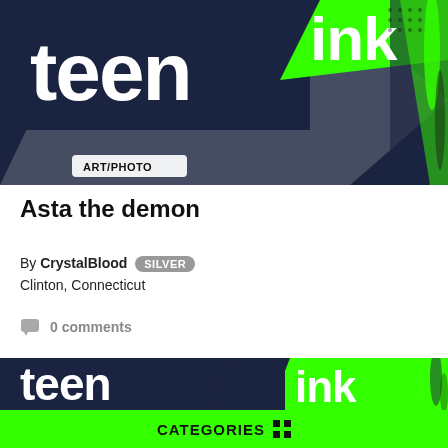[Figure (illustration): Teen Ink logo with green and dark navy background, brush stroke graphic design elements. ART/PHOTO badge at bottom left.]
ART/PHOTO
Asta the demon
By CrystalBlood SILVER
Clinton, Connecticut
0 comments
[Figure (logo): Teen Ink logo with large white 'teen' and 'ink' text on dark navy and bright green background with brush stroke graphic design elements.]
CATEGORIES